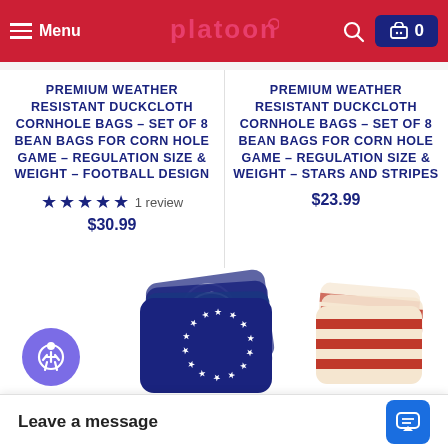[Figure (screenshot): Platoon e-commerce website header with red background, hamburger menu, platoon logo, search icon, and cart icon showing 0 items]
PREMIUM WEATHER RESISTANT DUCKCLOTH CORNHOLE BAGS – SET OF 8 BEAN BAGS FOR CORN HOLE GAME – REGULATION SIZE & WEIGHT – FOOTBALL DESIGN
★★★★★ 1 review $30.99
PREMIUM WEATHER RESISTANT DUCKCLOTH CORNHOLE BAGS – SET OF 8 BEAN BAGS FOR CORN HOLE GAME – REGULATION SIZE & WEIGHT – STARS AND STRIPES
$23.99
[Figure (photo): Stars and stripes cornhole bags set showing 4 blue bags with circular star pattern and 4 red/white striped bags]
Leave a message